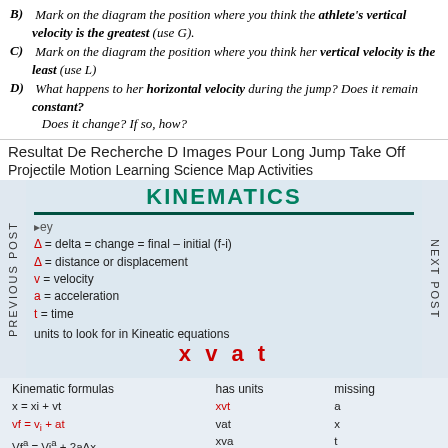B) Mark on the diagram the position where you think the athlete's vertical velocity is the greatest (use G).
C) Mark on the diagram the position where you think her vertical velocity is the least (use L)
D) What happens to her horizontal velocity during the jump? Does it remain constant? Does it change? If so, how?
Resultat De Recherche D Images Pour Long Jump Take Off
Projectile Motion Learning Science Map Activities
[Figure (photo): Handwritten kinematics notes on whiteboard showing title KINEMATICS, key definitions (delta=change=final-initial, distance or displacement, velocity, acceleration, time), phrase 'units to look for in kineatic equations', and x v a t in red.]
[Figure (photo): Handwritten kinematics formulas table showing Kinematic formulas column (x=xi+vt, vf=vi+at, Vfa=Vi²+2aΔx, x=Vit+½at²), has units column (xvt, vat, xva, xat), missing column (a, x, t, Vf), and alternate formats row (xf=xi+Vt → x=Vt → x=vaqt → x=Vt+½a+).]